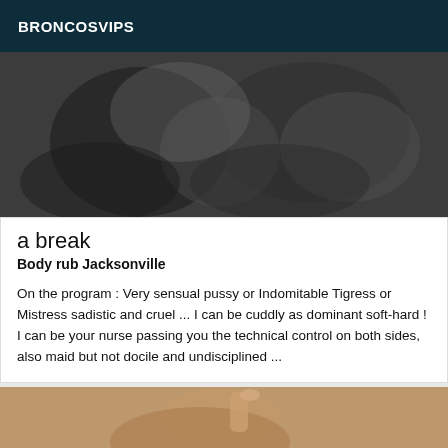BRONCOSVIPS
[Figure (photo): Black and white close-up photo, abstract body curves]
a break
Body rub Jacksonville
On the program : Very sensual pussy or Indomitable Tigress or Mistress sadistic and cruel ... I can be cuddly as dominant soft-hard ! I can be your nurse passing you the technical control on both sides, also maid but not docile and undisciplined ...
[Figure (photo): Color photo of a person's face/upper body, partial view]